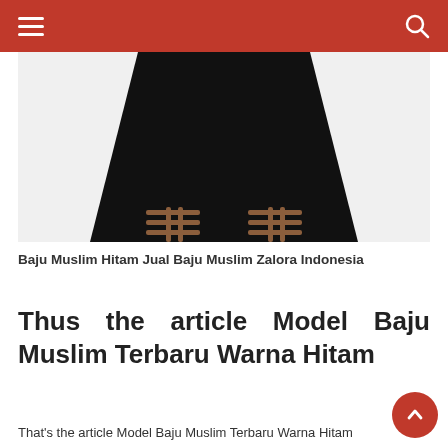[Figure (photo): Lower half of a person wearing a black maxi skirt and brown strappy sandals, against a light grey background.]
Baju Muslim Hitam Jual Baju Muslim Zalora Indonesia
Thus the article Model Baju Muslim Terbaru Warna Hitam
That's the article Model Baju Muslim Terbaru Warna Hitam